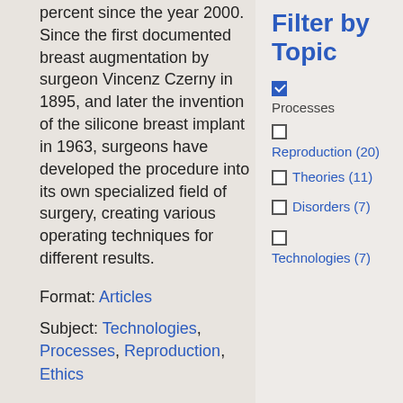percent since the year 2000. Since the first documented breast augmentation by surgeon Vincenz Czerny in 1895, and later the invention of the silicone breast implant in 1963, surgeons have developed the procedure into its own specialized field of surgery, creating various operating techniques for different results.
Format: Articles
Subject: Technologies, Processes, Reproduction, Ethics
Filter by Topic
☑ Processes
☐ Reproduction (20)
☐ Theories (11)
☐ Disorders (7)
☐ Technologies (7)